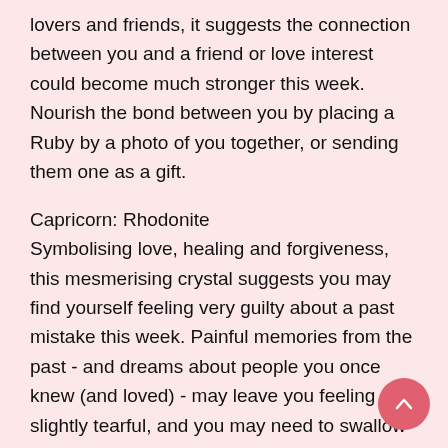lovers and friends, it suggests the connection between you and a friend or love interest could become much stronger this week. Nourish the bond between you by placing a Ruby by a photo of you together, or sending them one as a gift.
Capricorn: Rhodonite
Symbolising love, healing and forgiveness, this mesmerising crystal suggests you may find yourself feeling very guilty about a past mistake this week. Painful memories from the past - and dreams about people you once knew (and loved) - may leave you feeling slightly tearful, and you may need to swallow your pride, and apologise to a friend or loved one for your behaviour in the past too. Heal the bond between you by placing a Rhodonite by a photo of you together.